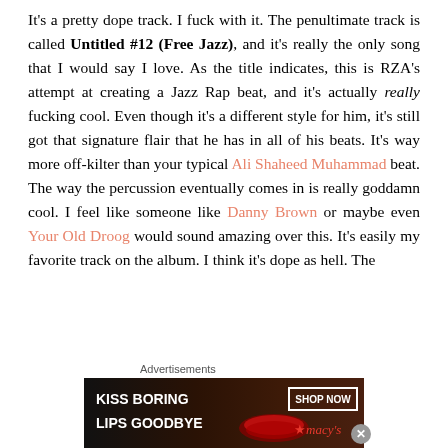It's a pretty dope track. I fuck with it. The penultimate track is called Untitled #12 (Free Jazz), and it's really the only song that I would say I love. As the title indicates, this is RZA's attempt at creating a Jazz Rap beat, and it's actually really fucking cool. Even though it's a different style for him, it's still got that signature flair that he has in all of his beats. It's way more off-kilter than your typical Ali Shaheed Muhammad beat. The way the percussion eventually comes in is really goddamn cool. I feel like someone like Danny Brown or maybe even Your Old Droog would sound amazing over this. It's easily my favorite track on the album. I think it's dope as hell. The
[Figure (other): Macy's advertisement banner: 'KISS BORING LIPS GOODBYE' with SHOP NOW button and Macy's logo with star]